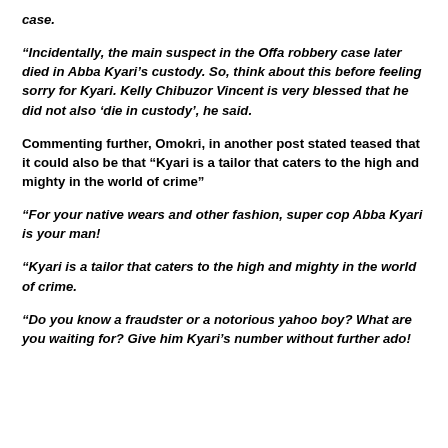case.
“Incidentally, the main suspect in the Offa robbery case later died in Abba Kyari’s custody. So, think about this before feeling sorry for Kyari. Kelly Chibuzor Vincent is very blessed that he did not also ‘die in custody’, he said.
Commenting further, Omokri, in another post stated teased that it could also be that “Kyari is a tailor that caters to the high and mighty in the world of crime”
“For your native wears and other fashion, super cop Abba Kyari is your man!
“Kyari is a tailor that caters to the high and mighty in the world of crime.
“Do you know a fraudster or a notorious yahoo boy? What are you waiting for? Give him Kyari’s number without further ado!